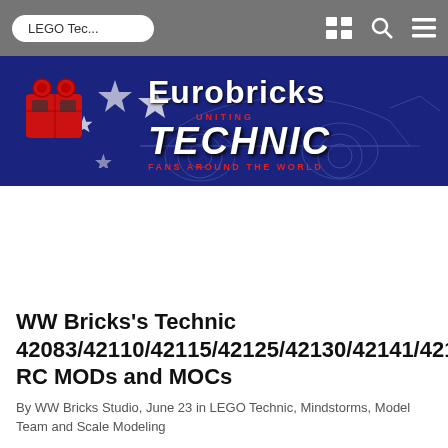LEGO Tec...
[Figure (illustration): Eurobricks banner with logo, LEGO brick icon, stars, and LEGO Technic race car blueprint. Text reads: Eurobricks UNITING TECHNIC FANS AROUND THE WORLD]
WW Bricks's Technic 42083/42110/42115/42125/42130/42141/42143 RC MODs and MOCs
By WW Bricks Studio, June 23 in LEGO Technic, Mindstorms, Model Team and Scale Modeling
moc
mod
f1
rc